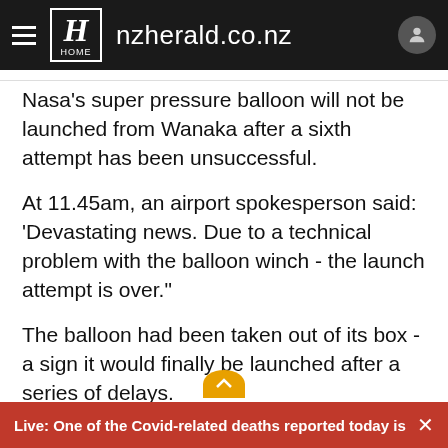nzherald.co.nz
Nasa's super pressure balloon will not be launched from Wanaka after a sixth attempt has been unsuccessful.
At 11.45am, an airport spokesperson said: 'Devastating news. Due to a technical problem with the balloon winch - the launch attempt is over."
The balloon had been taken out of its box - a sign it would finally be launched after a series of delays.
The weather was still and crisp, with some lingering
Live: One of the Covid-related deaths reported today is a …